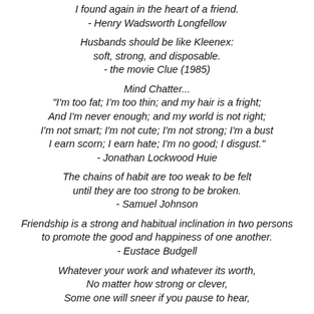I found again in the heart of a friend.
- Henry Wadsworth Longfellow
Husbands should be like Kleenex:
soft, strong, and disposable.
- the movie Clue (1985)
Mind Chatter...
"I'm too fat; I'm too thin; and my hair is a fright;
And I'm never enough; and my world is not right;
I'm not smart; I'm not cute; I'm not strong; I'm a bust
I earn scorn; I earn hate; I'm no good; I disgust."
- Jonathan Lockwood Huie
The chains of habit are too weak to be felt
until they are too strong to be broken.
- Samuel Johnson
Friendship is a strong and habitual inclination in two persons
to promote the good and happiness of one another.
- Eustace Budgell
Whatever your work and whatever its worth,
No matter how strong or clever,
Some one will sneer if you pause to hear,